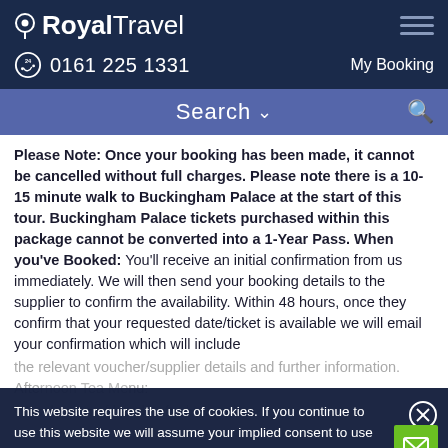Royal Travel
0161 225 1331   My Booking
Search
Please Note: Once your booking has been made, it cannot be cancelled without full charges. Please note there is a 10-15 minute walk to Buckingham Palace at the start of this tour. Buckingham Palace tickets purchased within this package cannot be converted into a 1-Year Pass. When you've Booked: You'll receive an initial confirmation from us immediately. We will then send your booking details to the supplier to confirm the availability. Within 48 hours, once they confirm that your requested date/ticket is available we will email your confirmation which will include the relevant voucher/supplier details and further information. Afternoon Tea Menu:
This website requires the use of cookies. If you continue to use this website we will assume your implied consent to use these cookies. This message will only be displayed once.